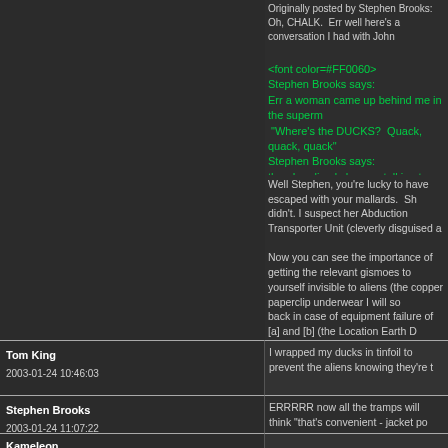Originally posted by Stephen Brooks:
Oh, CHALK. Err well here's a conversation I had with John
<font color=#FF0060>
Stephen Brooks says:
Err a woman came up behind me in the superm
"Where's the DUCKS? Quack, quack, quack"
Stephen Brooks says:
then I realised she was talking to her pushchair
<snip>
</font>
Well Stephen, you're lucky to have escaped with your mallards. Sh
didn't. I suspect her Abduction Transporter Unit (cleverly disguised a

Now you can see the importance of getting the relevant gismoes to
yourself invisible to aliens (the copper paperclip underwear I will so
back in case of equipment failure of [a] and [b] (the Location Earth 

Really, Stephen, you owe it to yourself to take more precautions be
setting an example to the people you know, right?

-- peace. LG
Tom King
2003-01-24 10:46:03
I wrapped my ducks in tinfoil to prevent the aliens knowing they're t
Stephen Brooks
2003-01-24 11:07:22
ERRRRR now all the tramps will think "that's convenient - jacket po
Err you know, if they made an extra-large black briefcase that also doubled as a
Kameleon